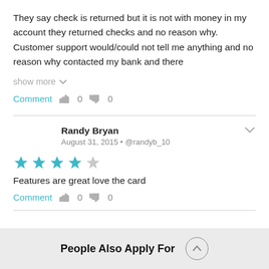They say check is returned but it is not with money in my account they returned checks and no reason why. Customer support would/could not tell me anything and no reason why contacted my bank and there
show more
Comment  0  0
Randy Bryan
August 31, 2015 • @randyb_10
[Figure (other): 4 out of 5 stars rating: 4 teal filled stars, 1 empty star]
Features are great love the card
Comment  0  0
People Also Apply For